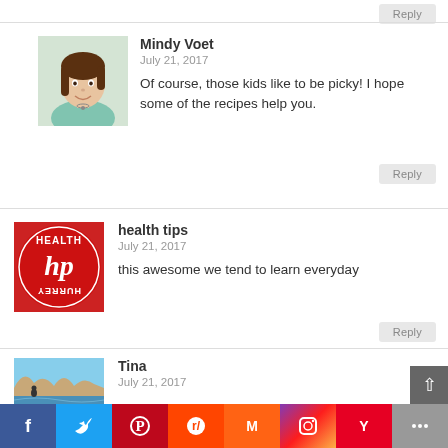[Figure (photo): Reply button at top right]
[Figure (photo): Avatar photo of Mindy Voet - woman with brown hair smiling, wearing teal top]
Mindy Voet
July 21, 2017
Of course, those kids like to be picky! I hope some of the recipes help you.
Reply
[Figure (logo): Red circular logo with text 'HEALTH hp HURREY' in white]
health tips
July 21, 2017
this awesome we tend to learn everyday
Reply
[Figure (photo): Coastal landscape photo with cliffs and blue water, woman figure visible]
Tina
July 21, 2017
[Figure (infographic): Social sharing bar with icons: Facebook, Twitter, Pinterest, Reddit, Mix, Instagram, Yummly, Share]